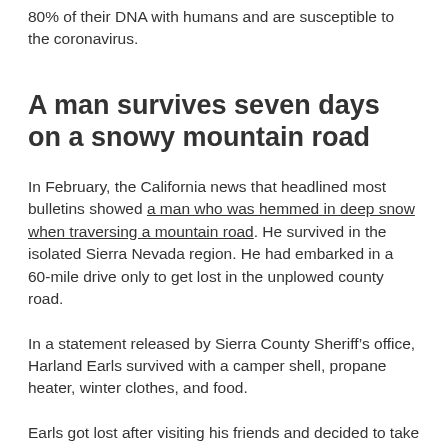80% of their DNA with humans and are susceptible to the coronavirus.
A man survives seven days on a snowy mountain road
In February, the California news that headlined most bulletins showed a man who was hemmed in deep snow when traversing a mountain road. He survived in the isolated Sierra Nevada region. He had embarked in a 60-mile drive only to get lost in the unplowed county road.
In a statement released by Sierra County Sheriff’s office, Harland Earls survived with a camper shell, propane heater, winter clothes, and food.
Earls got lost after visiting his friends and decided to take another route. He followed Interstate 80, only to realize